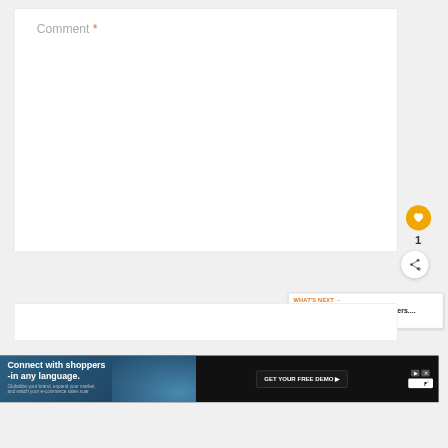Comment *
1
Name *
WHAT'S NEXT → Top 25 Female YouTubers....
Connect with shoppers -in any language. Globalize your brand, expand your market, and watch your e-commerce sales soar
GET YOUR FREE DEMO